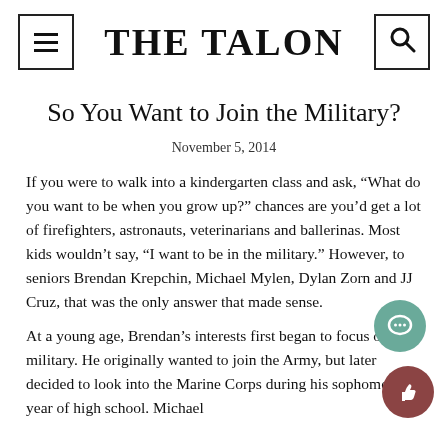THE TALON
So You Want to Join the Military?
November 5, 2014
If you were to walk into a kindergarten class and ask, “What do you want to be when you grow up?” chances are you’d get a lot of firefighters, astronauts, veterinarians and ballerinas. Most kids wouldn’t say, “I want to be in the military.” However, to seniors Brendan Krepchin, Michael Mylen, Dylan Zorn and JJ Cruz, that was the only answer that made sense.
At a young age, Brendan’s interests first began to focus on the military. He originally wanted to join the Army, but later decided to look into the Marine Corps during his sophomore year of high school. Michael